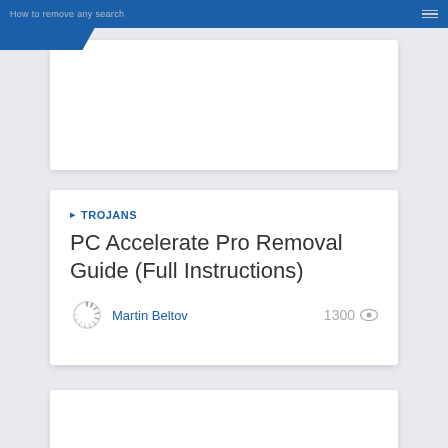How to remove any search
[Figure (screenshot): White content card placeholder (top)]
TROJANS
PC Accelerate Pro Removal Guide (Full Instructions)
Martin Beltov  1300 views
[Figure (screenshot): White content card placeholder (bottom)]